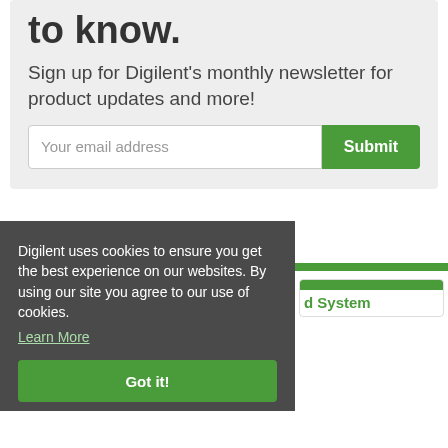to know.
Sign up for Digilent's monthly newsletter for product updates and more!
[Figure (screenshot): Email input field with placeholder text 'Your email address' and a green Submit button]
Digilent uses cookies to ensure you get the best experience on our websites. By using our site you agree to our use of cookies.
Learn More
Got it!
Real-Time Distributed System